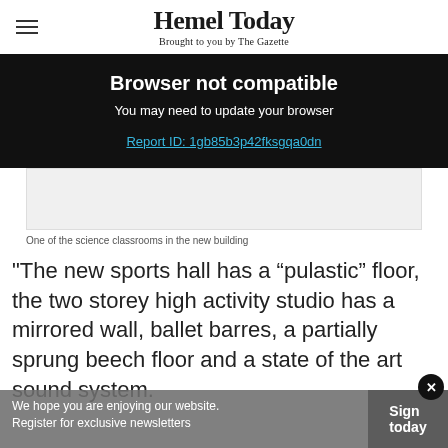Hemel Today — Brought to you by The Gazette
Browser not compatible
You may need to update your browser
Report ID: 1gb85b3p42fksgqa0dn
[Figure (photo): Image placeholder of science classroom]
One of the science classrooms in the new building
"The new sports hall has a “pulastic” floor, the two storey high activity studio has a mirrored wall, ballet barres, a partially sprung beech floor and a state of the art sound system.
We hope you are enjoying our website. Register for exclusive newsletters